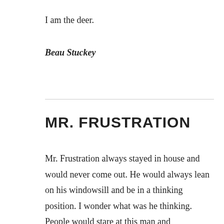I am the deer.
Beau Stuckey
MR. FRUSTRATION
Mr. Frustration always stayed in house and would never come out. He would always lean on his windowsill and be in a thinking position. I wonder what was he thinking. People would stare at this man and